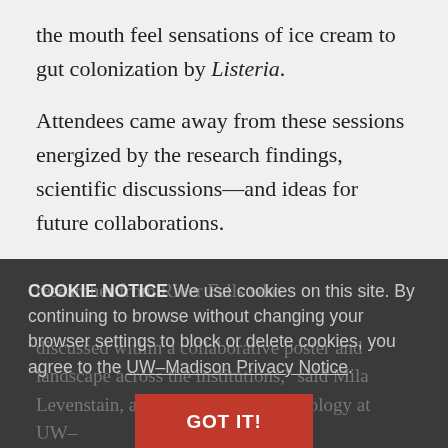the mouth feel sensations of ice cream to gut colonization by Listeria.
Attendees came away from these sessions energized by the research findings, scientific discussions—and ideas for future collaborations.
COOKIE NOTICE We use cookies on this site. By continuing to browse without changing your browser settings to block or delete cookies, you agree to the UW–Madison Privacy Notice.
GOT IT!